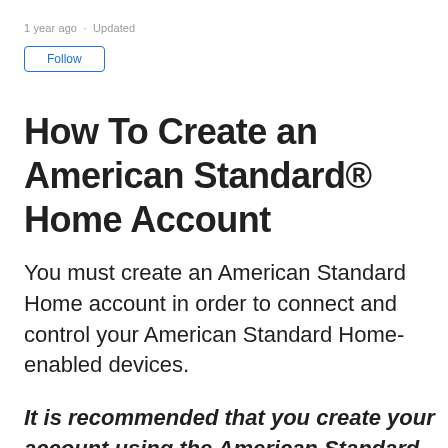1 year ago · Updated
Follow
How To Create an American Standard® Home Account
You must create an American Standard Home account in order to connect and control your American Standard Home-enabled devices.
It is recommended that you create your account using the American Standard Home